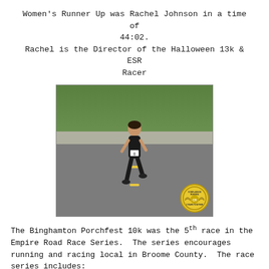Women's Runner Up was Rachel Johnson in a time of 44:02. Rachel is the Director of the Halloween 13k & ESR Racer
[Figure (photo): A woman running a road race (bib number 8) on a paved street, with other runners and vehicles in the background and trees lining the road. A Confluence Running logo badge appears in the bottom right corner.]
The Binghamton Porchfest 10k was the 5th race in the Empire Road Race Series. The series encourages running and racing local in Broome County. The race series includes:
The St. Patrick's Day 4 Miler presented by St. Patrick's